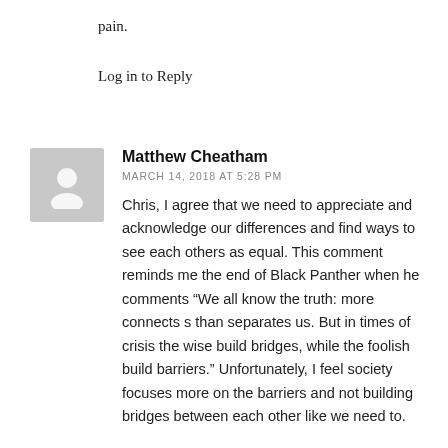pain.
Log in to Reply
Matthew Cheatham
MARCH 14, 2018 AT 5:28 PM
Chris, I agree that we need to appreciate and acknowledge our differences and find ways to see each others as equal. This comment reminds me the end of Black Panther when he comments “We all know the truth: more connects s than separates us. But in times of crisis the wise build bridges, while the foolish build barriers.” Unfortunately, I feel society focuses more on the barriers and not building bridges between each other like we need to.